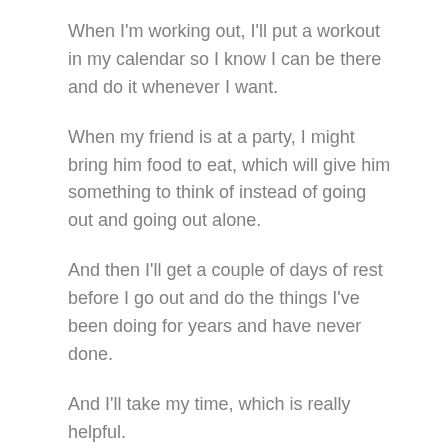When I'm working out, I'll put a workout in my calendar so I know I can be there and do it whenever I want.
When my friend is at a party, I might bring him food to eat, which will give him something to think of instead of going out and going out alone.
And then I'll get a couple of days of rest before I go out and do the things I've been doing for years and have never done.
And I'll take my time, which is really helpful.
2.
Set Goals and Work on Them If you've ever tried to do something that you think you should never do, you've probably come up with a list of things you're going to never do.
You probably also come up on a list that includes things you